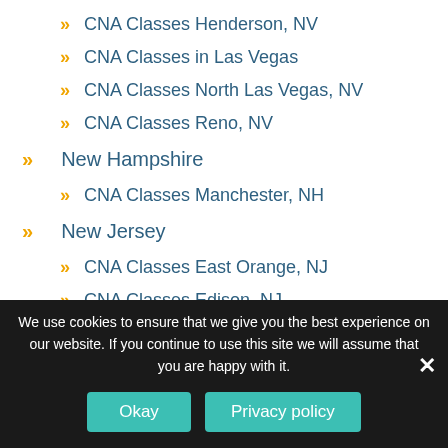CNA Classes Henderson, NV
CNA Classes in Las Vegas
CNA Classes North Las Vegas, NV
CNA Classes Reno, NV
New Hampshire
CNA Classes Manchester, NH
New Jersey
CNA Classes East Orange, NJ
CNA Classes Edison, NJ
CNA Classes Elizabeth, NJ
CNA Classes Jersey City, NJ
CNA Classes Newark, New Jersey
CNA Classes North Brunswick, NJ
We use cookies to ensure that we give you the best experience on our website. If you continue to use this site we will assume that you are happy with it.